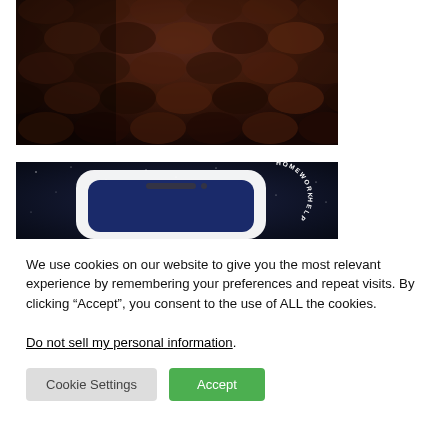[Figure (photo): Close-up photo of dark reddish-brown curved roof tiles at night or low light]
[Figure (screenshot): Dark night sky background with stars, white smartphone frame partial view, and circular 'HOMEWORK HELP' text logo on right side]
We use cookies on our website to give you the most relevant experience by remembering your preferences and repeat visits. By clicking “Accept”, you consent to the use of ALL the cookies.
Do not sell my personal information.
Cookie Settings
Accept